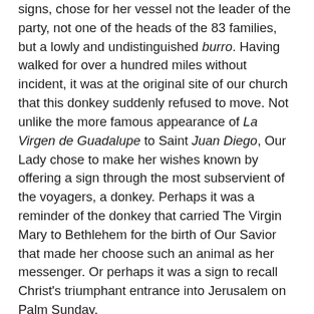signs, chose for her vessel not the leader of the party, not one of the heads of the 83 families, but a lowly and undistinguished burro. Having walked for over a hundred miles without incident, it was at the original site of our church that this donkey suddenly refused to move.  Not unlike the more famous appearance of La Virgen de Guadalupe to Saint Juan Diego, Our Lady chose to make her wishes known by offering a sign through the most subservient of the voyagers, a donkey. Perhaps it was a reminder of the donkey that carried The Virgin Mary to Bethlehem for the birth of Our Savior that made her choose such an animal as her messenger.  Or perhaps it was a sign to recall Christ's triumphant entrance into Jerusalem on Palm Sunday.
As the animal refused to move and as the settlers became more and more irate with the animal, their whippings and protestations having no effect upon the burro, the men decided it was best to unburden the animal of its load.  Despite the lightened load, the donkey still